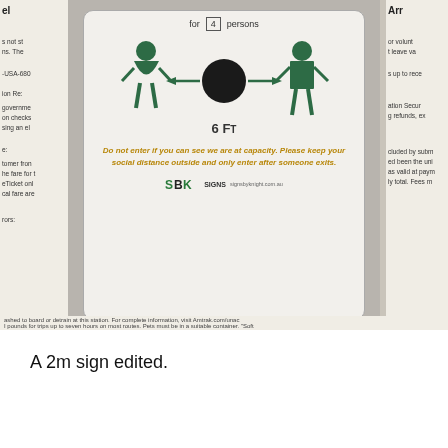[Figure (photo): A photograph of a social distancing sign showing two people figures with a 6 FT distance marker between them. The sign reads 'Do not enter if you can see we are at capacity. Please keep your social distance outside and only enter after someone exits.' with SBK Signs logo and signsbyknight.com.au. The sign is surrounded by partially visible document text on the left and right sides.]
A 2m sign edited.